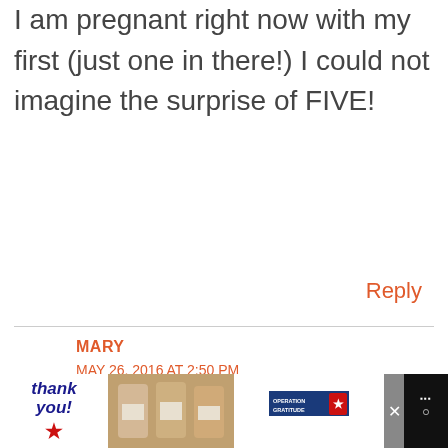I am pregnant right now with my first (just one in there!) I could not imagine the surprise of FIVE!
Reply
MARY
MAY 26, 2016 AT 2:50 PM
Simply amazing. Beautiful photos and beautiful story. I could NOT
[Figure (screenshot): Advertisement bar at the bottom featuring a 'Thank you' handwritten note with patriotic star design, photo of nurses, Operation Gratitude logo, and close buttons]